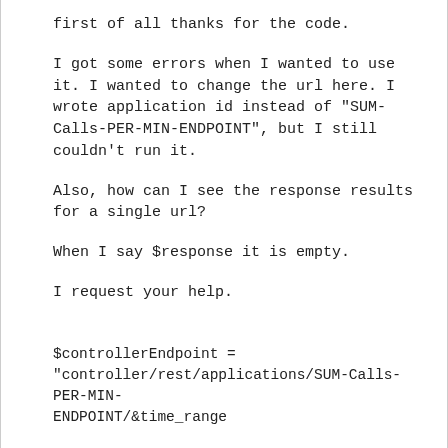first of all thanks for the code.
I got some errors when I wanted to use it. I wanted to change the url here. I wrote application id instead of "SUM-Calls-PER-MIN-ENDPOINT", but I still couldn't run it.
Also, how can I see the response results for a single url?
When I say $response it is empty.
I request your help.
$controllerEndpoint = "controller/rest/applications/SUM-Calls-PER-MIN-ENDPOINT/&time_range